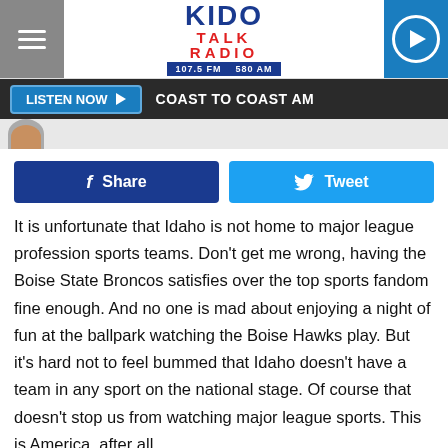KIDO TALK RADIO 107.5 FM 580 AM
LISTEN NOW ▶   COAST TO COAST AM
[Figure (other): Facebook Share button and Twitter Tweet button]
It is unfortunate that Idaho is not home to major league profession sports teams. Don't get me wrong, having the Boise State Broncos satisfies over the top sports fandom fine enough. And no one is mad about enjoying a night of fun at the ballpark watching the Boise Hawks play. But it's hard not to feel bummed that Idaho doesn't have a team in any sport on the national stage. Of course that doesn't stop us from watching major league sports. This is America, after all.
Right now the biggest thing going is the 2021 World Series.